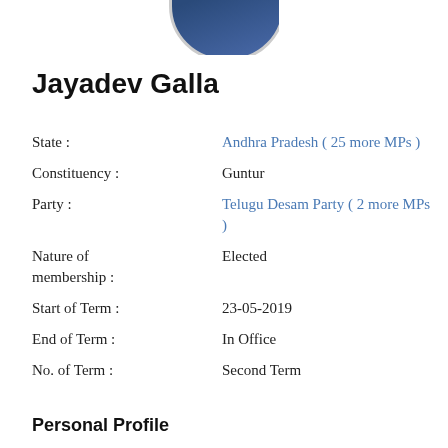[Figure (photo): Cropped bottom portion of a circular profile photo of Jayadev Galla, showing the top of the head, with a grey circular border.]
Jayadev Galla
| State : | Andhra Pradesh ( 25 more MPs ) |
| Constituency : | Guntur |
| Party : | Telugu Desam Party ( 2 more MPs ) |
| Nature of membership : | Elected |
| Start of Term : | 23-05-2019 |
| End of Term : | In Office |
| No. of Term : | Second Term |
Personal Profile